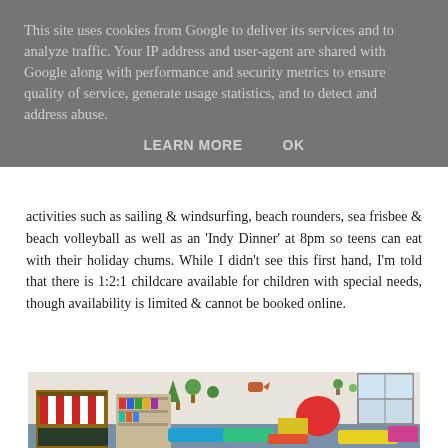This site uses cookies from Google to deliver its services and to analyze traffic. Your IP address and user-agent are shared with Google along with performance and security metrics to ensure quality of service, generate usage statistics, and to detect and address abuse.
LEARN MORE    OK
activities such as sailing & windsurfing, beach rounders, sea frisbee & beach volleyball as well as an 'Indy Dinner' at 8pm so teens can eat with their holiday chums. While I didn't see this first hand, I'm told that there is 1:2:1 childcare available for children with special needs, though availability is limited & cannot be booked online.
[Figure (photo): Interior photo of a children's playroom with colourful toys, a bunk bed/shelf unit with red and white striped curtain, a chalkboard at the bottom, bookshelves with books, wall decorations with trees and animals, colourful soft play items including a red disc, yellow block, and colourful fabric pieces on the floor, and a window on the right side.]